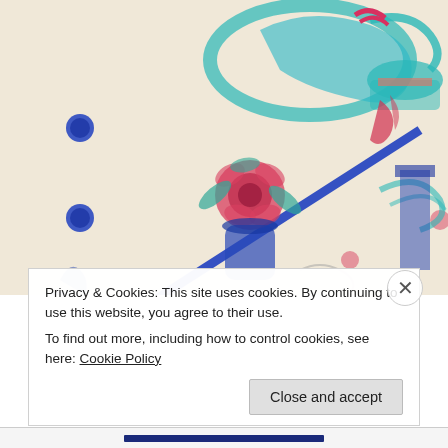[Figure (photo): Close-up photo of a colorful Asian-themed fabric or garment with blue, red, teal, and pink print motifs including dragons, flowers, pagodas, and figures in traditional dress. Blue piping/trim visible. Blue buttons on the left side.]
Privacy & Cookies: This site uses cookies. By continuing to use this website, you agree to their use.
To find out more, including how to control cookies, see here: Cookie Policy
Close and accept